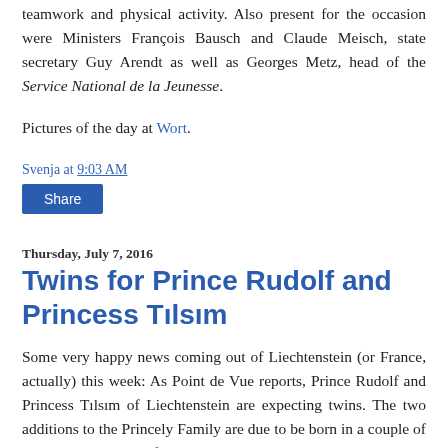teamwork and physical activity. Also present for the occasion were Ministers François Bausch and Claude Meisch, state secretary Guy Arendt as well as Georges Metz, head of the Service National de la Jeunesse.
Pictures of the day at Wort.
Svenja at 9:03 AM
Share
Thursday, July 7, 2016
Twins for Prince Rudolf and Princess Tılsım
Some very happy news coming out of Liechtenstein (or France, actually) this week: As Point de Vue reports, Prince Rudolf and Princess Tılsım of Liechtenstein are expecting twins. The two additions to the Princely Family are due to be born in a couple of weeks. Prince Rudolf's and Princess Tılsım's daughter, Princess Aliénor, tragically died late last